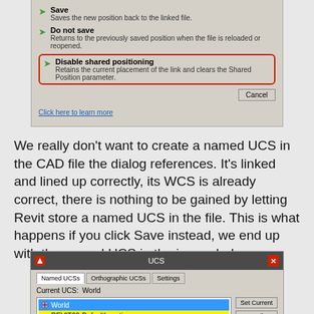[Figure (screenshot): Dialog box showing Save/Do not save/Disable shared positioning options with Cancel button and 'Click here to learn more' link. 'Disable shared positioning' option is highlighted with red border.]
We really don't want to create a named UCS in the CAD file the dialog references. It's linked and lined up correctly, its WCS is already correct, there is nothing to be gained by letting Revit store a named UCS in the file. This is what happens if you click Save instead, we end up with the named UCS in the image below.
[Figure (screenshot): UCS dialog box showing Named UCSs tab with 'World' selected in blue and 'REVIT60-DefaultLocation' highlighted in yellow. Set Current and Details buttons visible.]